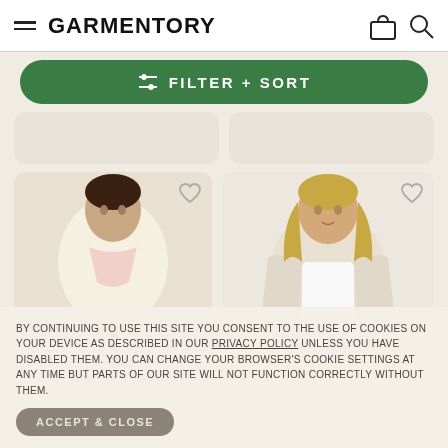GARMENTORY
[Figure (screenshot): Green filter + sort button with slider icon]
[Figure (photo): Two partial product cards visible at top]
[Figure (photo): Left product card: woman wearing cream and pink cardigan]
[Figure (photo): Right product card: blonde woman wearing beige/cream open cardigan]
BY CONTINUING TO USE THIS SITE YOU CONSENT TO THE USE OF COOKIES ON YOUR DEVICE AS DESCRIBED IN OUR PRIVACY POLICY UNLESS YOU HAVE DISABLED THEM. YOU CAN CHANGE YOUR BROWSER'S COOKIE SETTINGS AT ANY TIME BUT PARTS OF OUR SITE WILL NOT FUNCTION CORRECTLY WITHOUT THEM.
ACCEPT & CLOSE